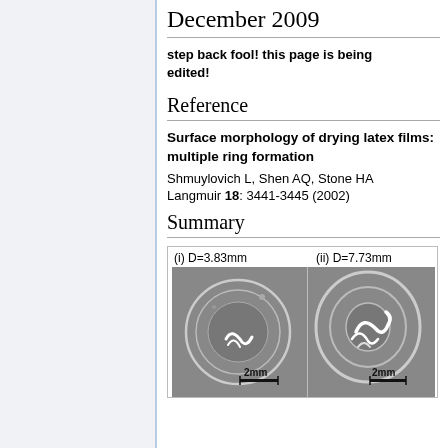December 2009
step back fool! this page is being edited!
Reference
Surface morphology of drying latex films: multiple ring formation
Shmuylovich L, Shen AQ, Stone HA
Langmuir 18: 3441-3445 (2002)
Summary
[Figure (photo): Two grayscale microscopy images of drying latex films. (i) D=3.83mm showing a circular ring pattern with scale bar 2mm. (ii) D=7.73mm showing a more complex ring pattern with scale bar 2mm.]